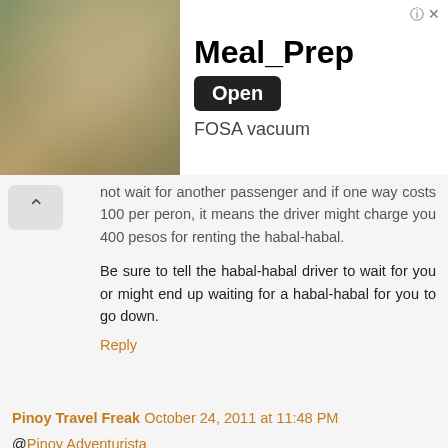[Figure (other): Advertisement banner for Meal_Prep app featuring FOSA vacuum product, with a food preparation photo on the left and Open button on the right]
not wait for another passenger and if one way costs 100 per peron, it means the driver might charge you 400 pesos for renting the habal-habal.
Be sure to tell the habal-habal driver to wait for you or might end up waiting for a habal-habal for you to go down.
Reply
Pinoy Travel Freak October 24, 2011 at 11:48 PM
@Pinoy Adventurista
Ok gets ko na. Thanks for the info Mervs!